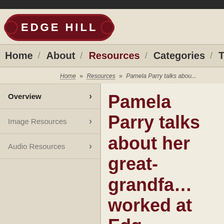[Figure (logo): Edge Hill logo - dark red pill-shaped badge with white text EDGE HILL]
Home / About / Resources / Categories / Tags
Home » Resources » Pamela Parry talks abou...
Overview
Image Resources
Audio Resources
Pamela Parry talks about her great-grandfather who worked at Edge Hill as a brakesman
Resource Type: Audio | Posted on 20th...